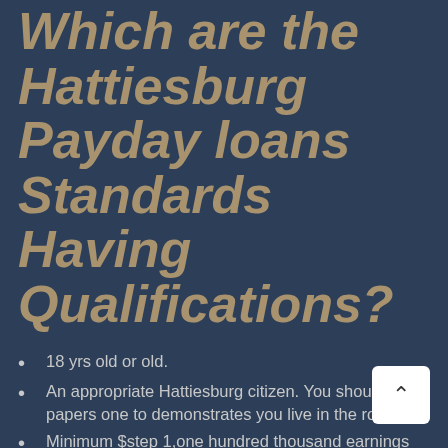Which are the Hattiesburg Payday loans Standards Having Qualifications?
18 yrs old or old.
An appropriate Hattiesburg citizen. You should offer papers one to demonstrates you live in the room.
Minimum $step 1,one hundred thousand earnings with constant income source (job). It is to make sure you might repay the loan.